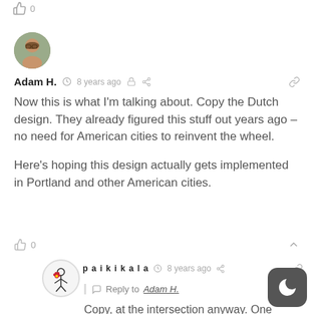[Figure (other): Thumbs up icon with count 0 at top of page]
[Figure (photo): Circular avatar photo of Adam H., a person with beard and glasses]
Adam H. 8 years ago
Now this is what I'm talking about. Copy the Dutch design. They already figured this stuff out years ago – no need for American cities to reinvent the wheel.

Here's hoping this design actually gets implemented in Portland and other American cities.
[Figure (other): Thumbs up icon with count 0 and chevron up icon]
[Figure (illustration): Circular avatar of paikikala, stick figure with flower]
paikikala 8 years ago
Reply to Adam H.
Copy, at the intersection anyway. One